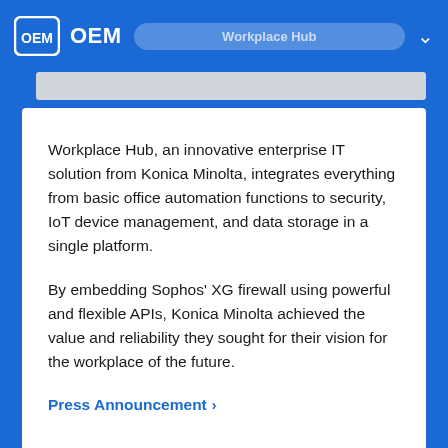OEM  Workplace Hub
Workplace Hub, an innovative enterprise IT solution from Konica Minolta, integrates everything from basic office automation functions to security, IoT device management, and data storage in a single platform.
By embedding Sophos' XG firewall using powerful and flexible APIs, Konica Minolta achieved the value and reliability they sought for their vision for the workplace of the future.
Press Announcement ›